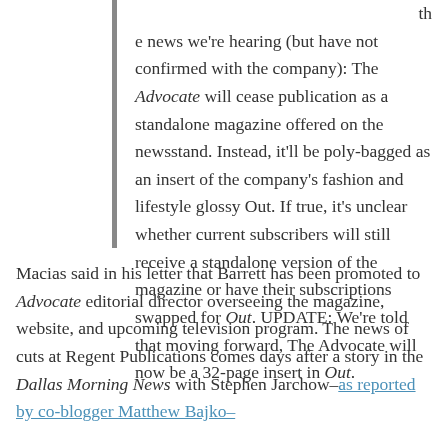the news we're hearing (but have not confirmed with the company): The Advocate will cease publication as a standalone magazine offered on the newsstand. Instead, it'll be poly-bagged as an insert of the company's fashion and lifestyle glossy Out. If true, it's unclear whether current subscribers will still receive a standalone version of the magazine or have their subscriptions swapped for Out. UPDATE: We're told that moving forward, The Advocate will now be a 32-page insert in Out.
Macias said in his letter that Barrett has been promoted to Advocate editorial director overseeing the magazine, website, and upcoming television program. The news of cuts at Regent Publications comes days after a story in the Dallas Morning News with Stephen Jarchow–as reported by co-blogger Matthew Bajko–